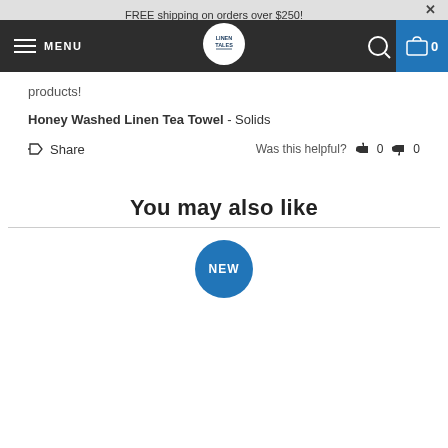FREE shipping on orders over $250!
MENU | LINEN TALES logo | search | cart 0
products!
Honey Washed Linen Tea Towel - Solids
Share   Was this helpful? 0  0
You may also like
[Figure (other): Blue circular NEW badge]